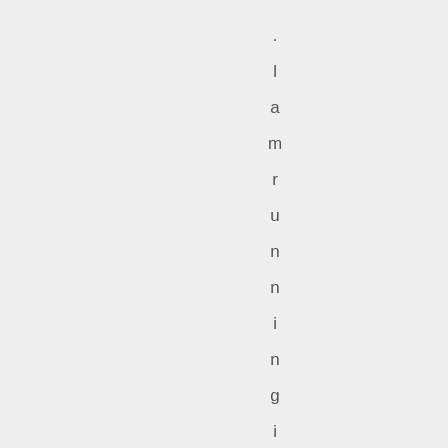. l a m r u n n i n g i n t o t